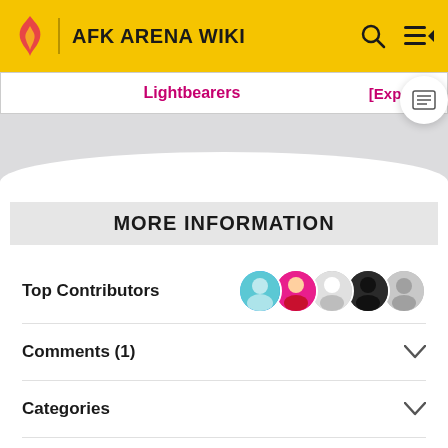AFK ARENA WIKI
Lightbearers [Expand]
MORE INFORMATION
Top Contributors
Comments (1)
Categories
Community content is available under CC-BY-SA unless otherwise noted.